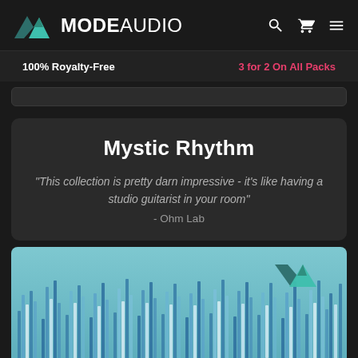MODE AUDIO
100% Royalty-Free | 3 for 2 On All Packs
Mystic Rhythm
"This collection is pretty darn impressive - it's like having a studio guitarist in your room" - Ohm Lab
[Figure (illustration): Product image showing a teal/blue waveform or sound visualization with vertical bars of varying heights in shades of blue, teal, and white. ModeAudio logo visible in top-right corner of the image.]